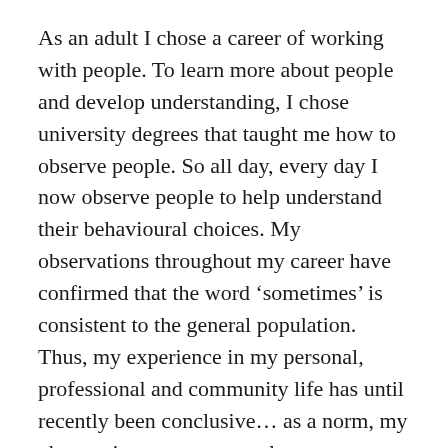As an adult I chose a career of working with people. To learn more about people and develop understanding, I chose university degrees that taught me how to observe people. So all day, every day I now observe people to help understand their behavioural choices. My observations throughout my career have confirmed that the word ‘sometimes’ is consistent to the general population. Thus, my experience in my personal, professional and community life has until recently been conclusive… as a norm, my observations suggest people are commonly ‘consistently inconsistent’.
So, as I lie here on the dawn of the 1st day of 2013 feeling amazing, I have reflected on how this expectation of people being consistently inconsistent has started to change and become...